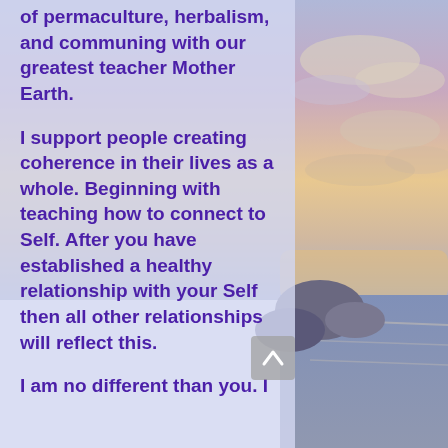of permaculture, herbalism, and communing with our greatest teacher Mother Earth.
I support people creating coherence in their lives as a whole. Beginning with teaching how to connect to Self. After you have established a healthy relationship with your Self then all other relationships will reflect this.
I am no different than you. I
[Figure (photo): Coastal sunset scene with rocks, ocean water, and a sky with clouds tinted in orange, pink, and purple hues.]